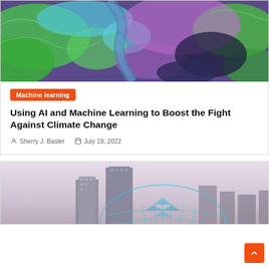[Figure (photo): False-color satellite image showing terrain with green, cyan, purple, and dark blue colors representing different land and water features]
Machine learning
Using AI and Machine Learning to Boost the Fight Against Climate Change
Sherry J. Basler   July 19, 2022
[Figure (photo): City skyline with tall buildings and a glowing blue digital/geometric dome structure in the foreground, against a pale sky]